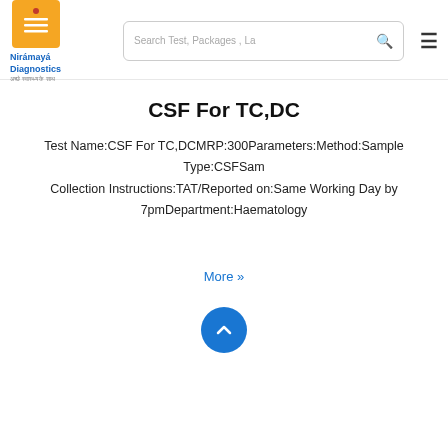[Figure (logo): Niramaya Diagnostics logo with orange icon and blue text]
CSF For TC,DC
Test Name:CSF For TC,DCMRP:300Parameters:Method:Sample Type:CSFSam Collection Instructions:TAT/Reported on:Same Working Day by 7pmDepartment:Haematology
More »